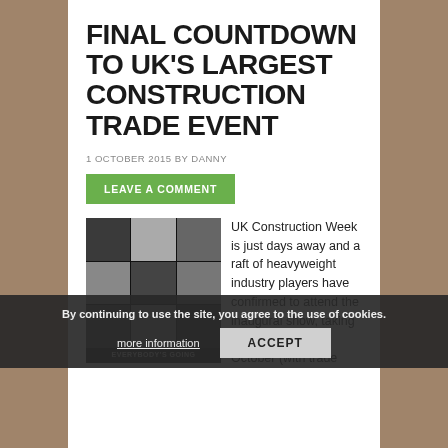FINAL COUNTDOWN TO UK'S LARGEST CONSTRUCTION TRADE EVENT
1 OCTOBER 2015 BY DANNY
LEAVE A COMMENT
[Figure (photo): Grid of nine black-and-white portrait faces with caption EVERYBODY'S GOING]
UK Construction Week is just days away and a raft of heavyweight industry players have confirmed to attend the inaugural show, taking place from 6 - 11 October (with trade
By continuing to use the site, you agree to the use of cookies. more information   ACCEPT